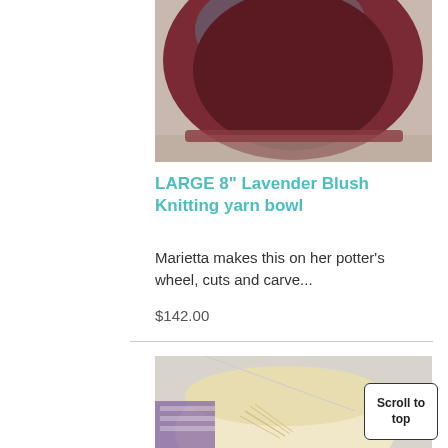[Figure (photo): Close-up photo of a dark maroon/oxblood glazed ceramic yarn bowl, partially cropped at top]
LARGE 8" Lavender Blush Knitting yarn bowl
Marietta makes this on her potter's wheel, cuts and carve...
$142.00
[Figure (photo): Photo of a cream/ivory colored ceramic yarn bowl with carved leaf/feather pattern, with knitting needle visible, sitting on a patterned surface]
Scroll to top